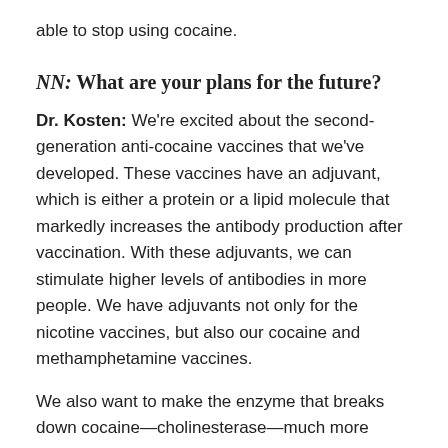able to stop using cocaine.
NN: What are your plans for the future?
Dr. Kosten: We're excited about the second-generation anti-cocaine vaccines that we've developed. These vaccines have an adjuvant, which is either a protein or a lipid molecule that markedly increases the antibody production after vaccination. With these adjuvants, we can stimulate higher levels of antibodies in more people. We have adjuvants not only for the nicotine vaccines, but also our cocaine and methamphetamine vaccines.
We also want to make the enzyme that breaks down cocaine—cholinesterase—much more active. Our collaborators have developed enzymes from bacteria that have 1,000 to 10,000 times the activity of the